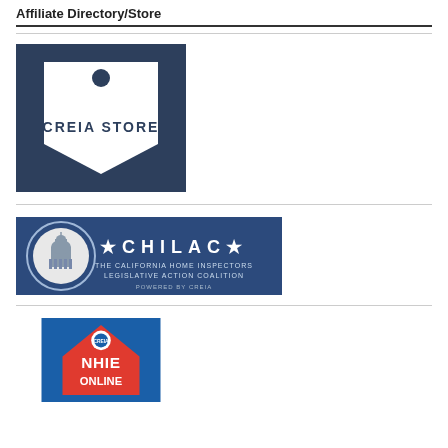Affiliate Directory/Store
[Figure (logo): CREIA STORE logo — dark navy price-tag shape with white tag silhouette and text 'CREIA STORE']
[Figure (logo): CHILAC banner — dark blue banner with capitol dome medallion, '* C H I L A C *', 'THE CALIFORNIA HOME INSPECTORS LEGISLATIVE ACTION COALITION', 'POWERED BY CREIA']
[Figure (logo): NHIE ONLINE STUDY partial logo — blue and red house shape with 'NHIE ONLINE' text visible, partially cropped]